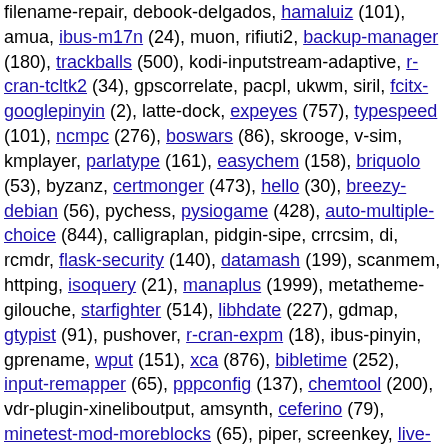filename-repair, debook-delgados, hamaluiz (101), amua, ibus-m17n (24), muon, rifiuti2, backup-manager (180), trackballs (500), kodi-inputstream-adaptive, r-cran-tcltk2 (34), gpscorrelate, pacpl, ukwm, siril, fcitx-googlepinyin (2), latte-dock, expeyes (757), typespeed (101), ncmpc (276), boswars (86), skrooge, v-sim, kmplayer, parlatype (161), easychem (158), briquolo (53), byzanz, certmonger (473), hello (30), breezy-debian (56), pychess, pysiogame (428), auto-multiple-choice (844), calligraplan, pidgin-sipe, crrcsim, di, rcmdr, flask-security (140), datamash (199), scanmem, httping, isoquery (21), manaplus (1999), metatheme-gilouche, starfighter (514), libhdate (227), gdmap, gtypist (91), pushover, r-cran-expm (18), ibus-pinyin, gprename, wput (151), xca (876), bibletime (252), input-remapper (65), pppconfig (137), chemtool (200), vdr-plugin-xineliboutput, amsynth, ceferino (79), minetest-mod-moreblocks (65), piper, screenkey, live-tools (17), zaz (107), ktikz (73), gnome-shell-extension-hamster (11), ibus-anthy (194), planetblupi (273), fcitx-sunpinyin (40), gnome-video-arcade, libapache2-mod-ldap (11), conferencexp (310), gcompris-balls